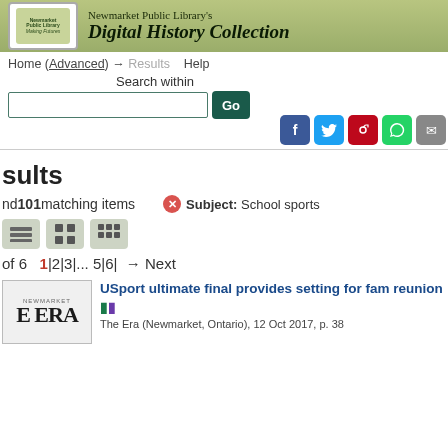Newmarket Public Library's Digital History Collection
Home (Advanced) → Results   Help
Search within
Go
sults
nd 101 matching items   Subject: School sports
of 6   1|2|3|... 5|6| → Next
USport ultimate final provides setting for fam reunion
The Era (Newmarket, Ontario), 12 Oct 2017, p. 38